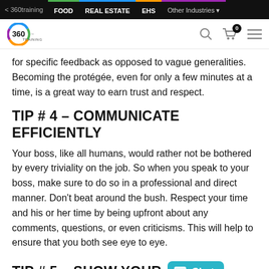< 360training  FOOD  REAL ESTATE  EHS  Other Industries
[Figure (logo): 360training logo with search, cart and menu icons]
for specific feedback as opposed to vague generalities. Becoming the protégée, even for only a few minutes at a time, is a great way to earn trust and respect.
TIP # 4 – COMMUNICATE EFFICIENTLY
Your boss, like all humans, would rather not be bothered by every triviality on the job. So when you speak to your boss, make sure to do so in a professional and direct manner. Don't beat around the bush. Respect your time and his or her time by being upfront about any comments, questions, or even criticisms. This will help to ensure that you both see eye to eye.
TIP # 5 – SHOW YOUR